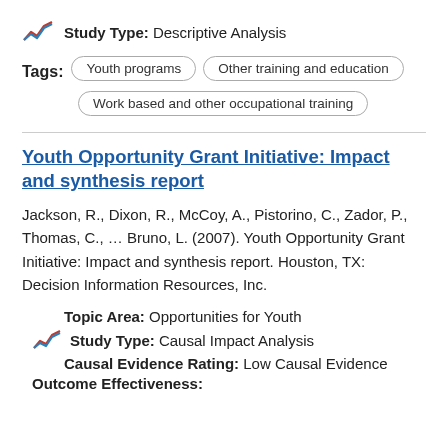Study Type: Descriptive Analysis
Tags: Youth programs | Other training and education | Work based and other occupational training
Youth Opportunity Grant Initiative: Impact and synthesis report
Jackson, R., Dixon, R., McCoy, A., Pistorino, C., Zador, P., Thomas, C., … Bruno, L. (2007). Youth Opportunity Grant Initiative: Impact and synthesis report. Houston, TX: Decision Information Resources, Inc.
Topic Area: Opportunities for Youth
Study Type: Causal Impact Analysis
Causal Evidence Rating: Low Causal Evidence
Outcome Effectiveness: